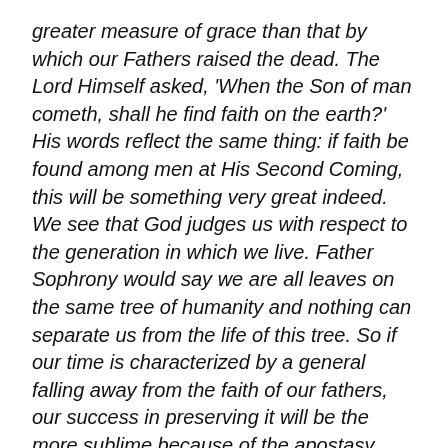greater measure of grace than that by which our Fathers raised the dead. The Lord Himself asked, 'When the Son of man cometh, shall he find faith on the earth?' His words reflect the same thing: if faith be found among men at His Second Coming, this will be something very great indeed. We see that God judges us with respect to the generation in which we live. Father Sophrony would say we are all leaves on the same tree of humanity and nothing can separate us from the life of this tree. So if our time is characterized by a general falling away from the faith of our fathers, our success in preserving it will be the more sublime because of the apostasy surrounding us.
But we must be resolute: either we live according to our faith or we do not. The Book of Revelation says we must not allow ourselves to loiter, to become lukewarm in the